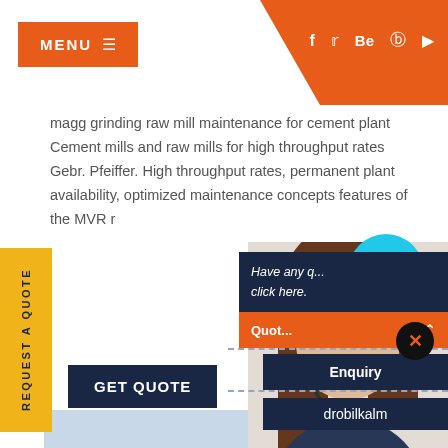MENU ≡  [social icons: f, twitter, Be, pinterest, youtube]
magg grinding raw mill maintenance for cement plant Cement mills and raw mills for high throughput rates Gebr. Pfeiffer. High throughput rates, permanent plant availability, optimized maintenance concepts features of the MVR r
REQUEST A QUOTE
GET QUOTE
[Figure (photo): Industrial cement/mining plant with conveyor belts and machinery against a rocky hillside]
[Figure (photo): Customer service woman wearing headset, smiling]
Have any questions, click here.
Quote
Enquiry
drobilkalm